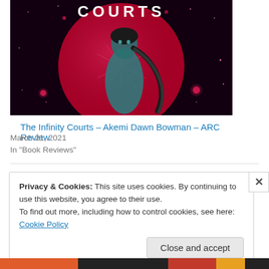[Figure (illustration): Book cover of 'The Infinity Courts' showing a young woman with a braided ponytail against a large red moon on a dark background, with white text 'COURTS' at the top.]
The Infinity Courts – Akemi Dawn Bowman – ARC Review
March 21, 2021
In "Book Reviews"
Privacy & Cookies: This site uses cookies. By continuing to use this website, you agree to their use.
To find out more, including how to control cookies, see here: Cookie Policy